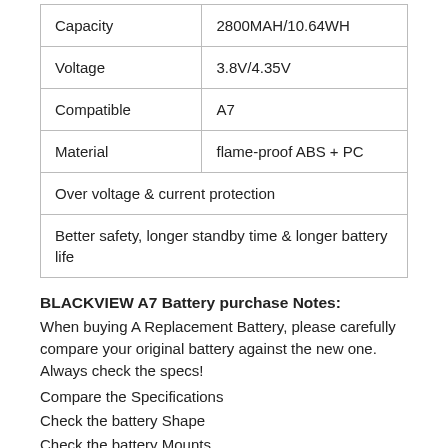| Capacity | 2800MAH/10.64WH |
| Voltage | 3.8V/4.35V |
| Compatible | A7 |
| Material | flame-proof ABS + PC |
| Over voltage & current protection |  |
| Better safety, longer standby time & longer battery life |  |
BLACKVIEW A7 Battery purchase Notes:
When buying A Replacement Battery, please carefully compare your original battery against the new one. Always check the specs!
Compare the Specifications
Check the battery Shape
Check the battery Mounts
Check the battery Part Number and Voltage